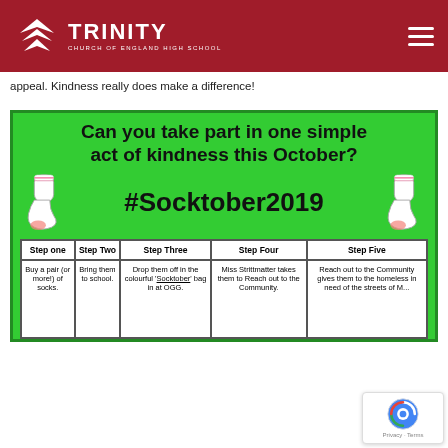Trinity Church of England High School
appeal. Kindness really does make a difference!
[Figure (infographic): Green poster for #Socktober2019 campaign asking 'Can you take part in one simple act of kindness this October?' with 5 steps: Step One - Buy a pair (or more!) of socks; Step Two - Bring them to school; Step Three - Drop them off in the colourful 'Socktober' bag in at OGG; Step Four - Miss Strittmatter takes them to Reach out to the Community; Step Five - Reach out to the Community gives them to the homeless in need of the streets of M...]